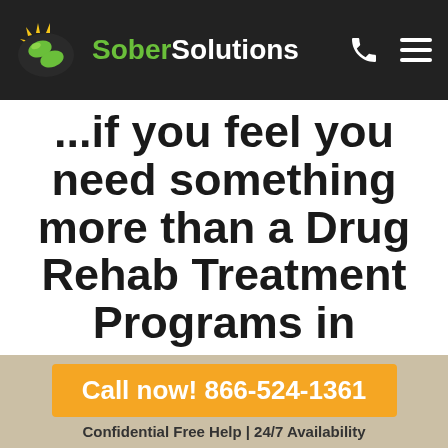Sober Solutions
...if you feel you need something more than a Drug Rehab Treatment Programs in
Call now! 866-524-1361
Confidential Free Help | 24/7 Availability